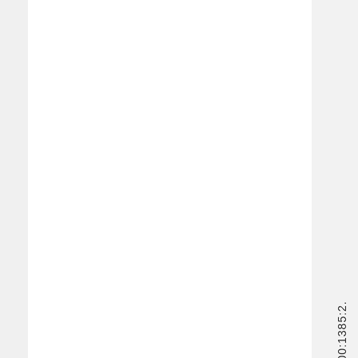1700:1385:2.
Notes
AttributedToTh